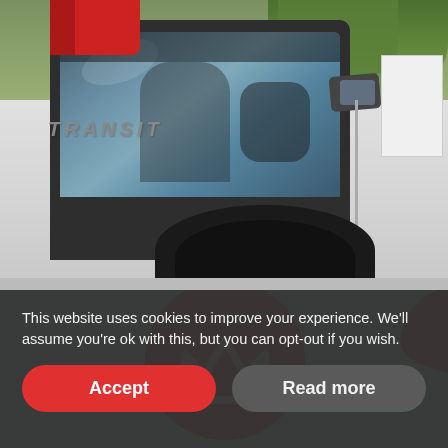[Figure (photo): Photograph of a white Ford Transit van with driver visible through open window, person wearing red sleeve, green trees in background, wheel arch visible at bottom.]
[Figure (illustration): Light blue background with a red circle containing a white crown/zigzag icon, and a red swoosh shape partially visible at upper right.]
This website uses cookies to improve your experience. We'll assume you're ok with this, but you can opt-out if you wish.
Accept
Read more